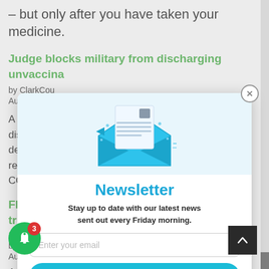– but only after you have taken your medicine.
Judge blocks military from discharging unvaccina[ted service members who were denied religious exemptions from the military's requirement, calling it detrimental to COVID-19...]
by ClarkCou[ntyToday.com]
August 22, 2[022]
A federal j[udge blocked t]he discharge [of service members who ]were denied rel[igious exemptions from the m]ilitary's requireme[nt, calling it detri]mental COVID-19[...]
FDA knew [huge number of women in] Pfizer trial suffered miscarriages
14
by ClarkCountyToday.com
August 18, 2022
An analysis of internal documents found 44% o[f women...]
[Figure (screenshot): Newsletter subscription modal overlay with envelope icon, title 'Newsletter', description 'Stay up to date with our latest news sent out every Friday morning.', email input field, SUBSCRIBE button, and 'We promise not to spam you!' text. Close button (X) in top right. Background shows partially obscured article text.]